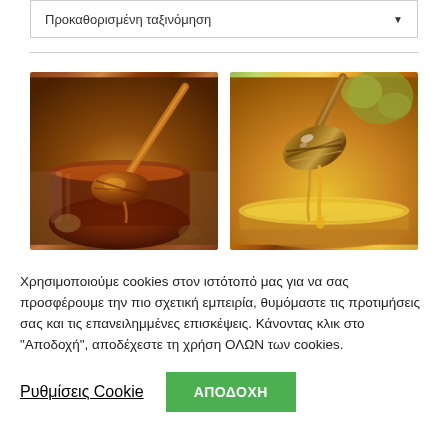Προκαθορισμένη ταξινόμηση
[Figure (photo): Two honey product photos side by side: left shows dark amber honey in a glass jar with a honey dipper, right shows golden honey dripping from a wooden honey dipper over a bowl]
Χρησιμοποιούμε cookies στον ιστότοπό μας για να σας προσφέρουμε την πιο σχετική εμπειρία, θυμόμαστε τις προτιμήσεις σας και τις επανειλημμένες επισκέψεις. Κάνοντας κλικ στο "Αποδοχή", αποδέχεστε τη χρήση ΟΛΩΝ των cookies.
Ρυθμίσεις Cookie
ΑΠΟΔΟΧΗ